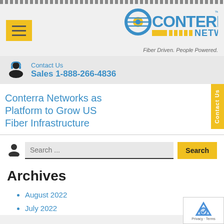Conterra Networks — Fiber Driven. People Powered.
[Figure (logo): Conterra Networks logo with blue and yellow design]
Contact Us
Sales 1-888-266-4836
Conterra Networks as Platform to Grow US Fiber Infrastructure
Search ...
Archives
August 2022
July 2022